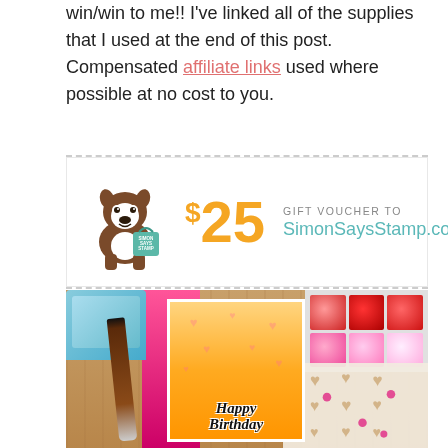win/win to me!! I've linked all of the supplies that I used at the end of this post. Compensated affiliate links used where possible at no cost to you.
[Figure (illustration): Simon Says Stamp gift voucher banner showing a cartoon Boston Terrier dog carrying a teal shopping bag, with '$25 GIFT VOUCHER TO SimonSaysStamp.com' text in orange and teal]
[Figure (photo): Photo of crafting supplies on a wood surface: a Happy Birthday handmade card with yellow-orange ink blend background, pink cardstock, an ink pad, a wooden-handled pen, a bead organizer with pink and red beads, and a heart-pattern stencil]